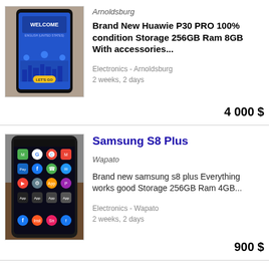[Figure (photo): Photo of a Huawei P30 Pro phone showing a blue welcome screen with 'Welcome' text and city skyline illustration]
Arnoldsburg
Brand New Huawie P30 PRO 100% condition Storage 256GB Ram 8GB With accessories...
Electronics - Arnoldsburg
2 weeks, 2 days
4 000 $
[Figure (photo): Photo of a Samsung S8 Plus phone showing Android home screen with colorful app icons including Google Maps, Chrome, Gmail, Facebook, and others]
Samsung S8 Plus
Wapato
Brand new samsung s8 plus Everything works good Storage 256GB Ram 4GB...
Electronics - Wapato
2 weeks, 2 days
900 $